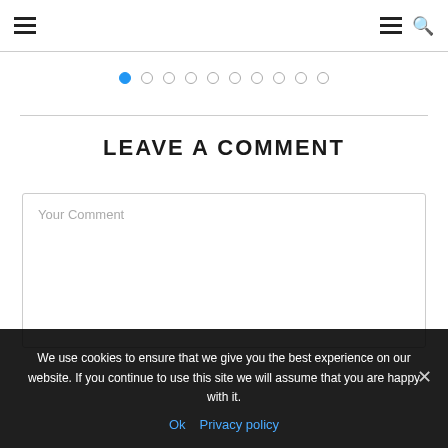Navigation bar with hamburger menu and search icons
[Figure (infographic): Pagination dots row: 10 dots, first dot filled blue (active), rest are empty circles]
LEAVE A COMMENT
Your Comment (placeholder text in comment box)
We use cookies to ensure that we give you the best experience on our website. If you continue to use this site we will assume that you are happy with it.
Ok   Privacy policy